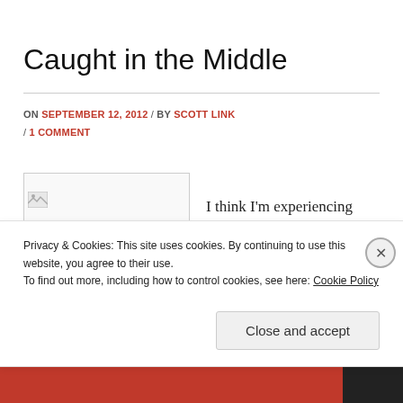Caught in the Middle
ON SEPTEMBER 12, 2012 / BY SCOTT LINK / 1 COMMENT
[Figure (photo): Placeholder image with broken image icon]
I think I'm experiencing what many Christian
Privacy & Cookies: This site uses cookies. By continuing to use this website, you agree to their use. To find out more, including how to control cookies, see here: Cookie Policy
Close and accept